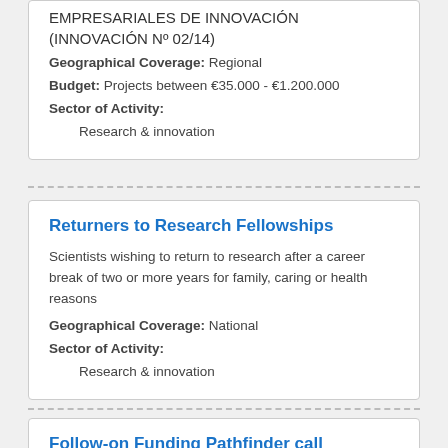EMPRESARIALES DE INNOVACIÓN (INNOVACIÓN Nº 02/14)
Geographical Coverage: Regional
Budget: Projects between €35.000 - €1.200.000
Sector of Activity:
Research & innovation
Returners to Research Fellowships
Scientists wishing to return to research after a career break of two or more years for family, caring or health reasons
Geographical Coverage: National
Sector of Activity:
Research & innovation
Follow-on Funding Pathfinder call